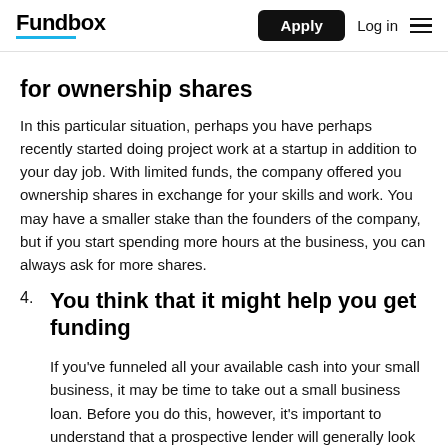Fundbox | Apply | Log in
for ownership shares
In this particular situation, perhaps you have perhaps recently started doing project work at a startup in addition to your day job. With limited funds, the company offered you ownership shares in exchange for your skills and work. You may have a smaller stake than the founders of the company, but if you start spending more hours at the business, you can always ask for more shares.
4. You think that it might help you get funding
If you've funneled all your available cash into your small business, it may be time to take out a small business loan. Before you do this, however, it's important to understand that a prospective lender will generally look at the financial qualifications of all